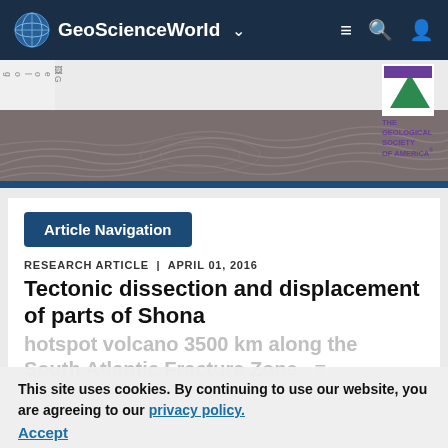GeoScienceWorld
[Figure (logo): GeoScienceWorld website header with navigation bar, Geology journal image placeholder, and The Geological Society of America logo]
Article Navigation
RESEARCH ARTICLE | APRIL 01, 2016
Tectonic dissection and displacement of parts of Shona hotspot volcano 3500 km along the South Atlantic Fracture Zone
K. Hoernle; A. Schwindrofska; R. Werner;
This site uses cookies. By continuing to use our website, you are agreeing to our privacy policy. Accept